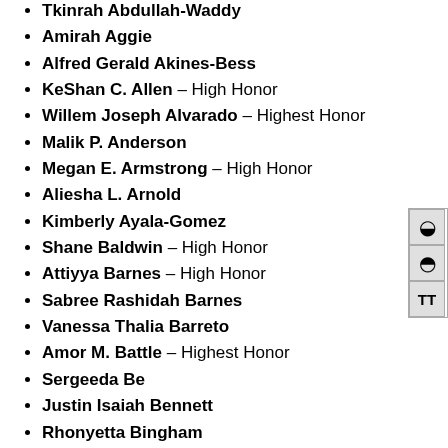Tkinrah Abdullah-Waddy
Amirah Aggie
Alfred Gerald Akines-Bess
KeShan C. Allen – High Honor
Willem Joseph Alvarado – Highest Honor
Malik P. Anderson
Megan E. Armstrong – High Honor
Aliesha L. Arnold
Kimberly Ayala-Gomez
Shane Baldwin – High Honor
Attiyya Barnes – High Honor
Sabree Rashidah Barnes
Vanessa Thalia Barreto
Amor M. Battle – Highest Honor
Sergeeda Be
Justin Isaiah Bennett
Rhonyetta Bingham
Shamira Temple Boyd